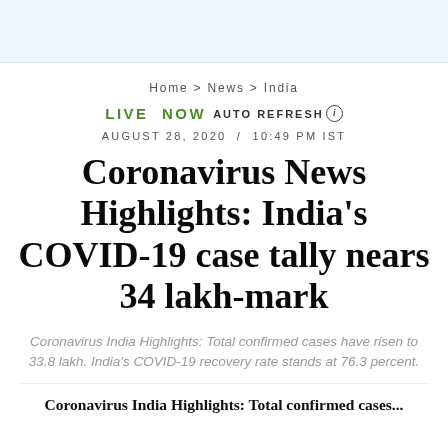Home > News > India
LIVE NOW AUTO REFRESH
AUGUST 28, 2020 / 10:49 PM IST
Coronavirus News Highlights: India's COVID-19 case tally nears 34 lakh-mark
Coronavirus India Highlights: Total confirmed cases have risen to 33.8 lakh. India's COVID-19 recovery rate stands at 76.3 percent.
Coronavirus India Highlights: Total confirmed cases...